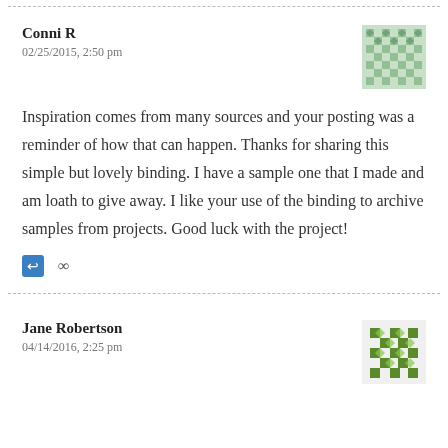Conni R
02/25/2015, 2:50 pm
Inspiration comes from many sources and your posting was a reminder of how that can happen. Thanks for sharing this simple but lovely binding. I have a sample one that I made and am loath to give away. I like your use of the binding to archive samples from projects. Good luck with the project!
Jane Robertson
04/14/2016, 2:25 pm